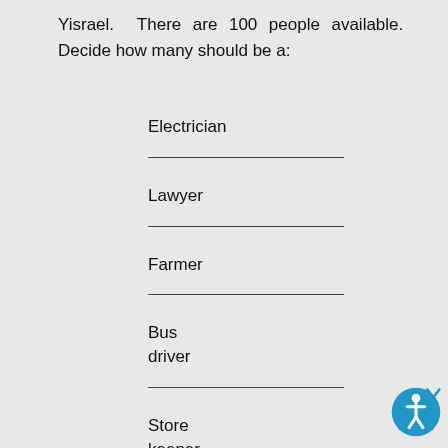Yisrael. There are 100 people available. Decide how many should be a:
Electrician
Lawyer
Farmer
Bus driver
Store keeper
Teacher